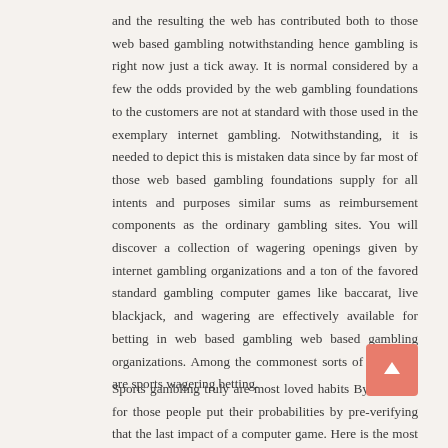and the resulting the web has contributed both to those web based gambling notwithstanding hence gambling is right now just a tick away. It is normal considered by a few the odds provided by the web gambling foundations to the customers are not at standard with those used in the exemplary internet gambling. Notwithstanding, it is needed to depict this is mistaken data since by far most of those web based gambling foundations supply for all intents and purposes similar sums as reimbursement components as the ordinary gambling sites. You will discover a collection of wagering openings given by internet gambling organizations and a ton of the favored standard gambling computer games like baccarat, live blackjack, and wagering are effectively available for betting in web based gambling web based gambling organizations. Among the commonest sorts of gambling are sports wagering betting.
Sports gambling truly are most loved habits By methods for those people put their probabilities by pre-verifying that the last impact of a computer game. Here is the most common kind of game betting anyway there are a few